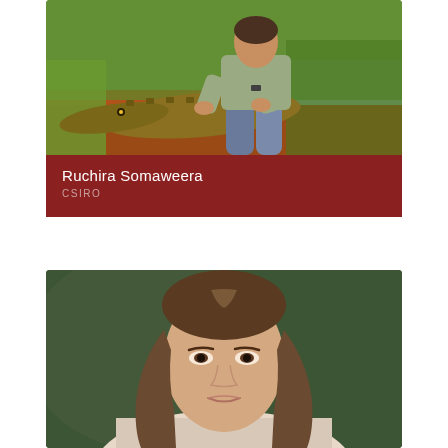[Figure (photo): A researcher crouching outdoors holding down a crocodile on red dirt ground with green grass and water in background]
Ruchira Somaweera
CSIRO
[Figure (photo): Portrait photo of a woman with long brown hair against a dark green background, photographed from approximately shoulder level up]